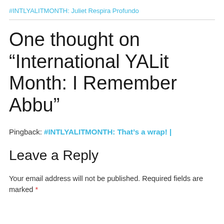#INTLYALITMONTH: Juliet Respira Profundo
One thought on “International YALit Month: I Remember Abbu”
Pingback: #INTLYALITMONTH: That’s a wrap! |
Leave a Reply
Your email address will not be published. Required fields are marked *